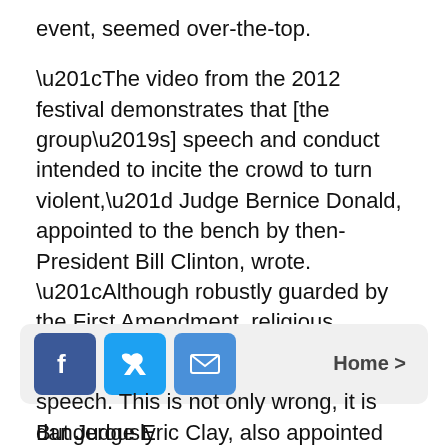event, seemed over-the-top.
“The video from the 2012 festival demonstrates that [the group’s] speech and conduct intended to incite the crowd to turn violent,” Judge Bernice Donald, appointed to the bench by then-President Bill Clinton, wrote. “Although robustly guarded by the First Amendment, religious conduct remains subject to regulation for the protection of society.”
But Judge Eric Clay, also appointed by Bill Clinton, dissented, opining that the ruling would give license to police to shut down free speech when others object.
[Figure (other): Social media sharing bar with Facebook, Twitter, and email icons, and a Home > navigation link]
speech. This is not only wrong, it is dangerously